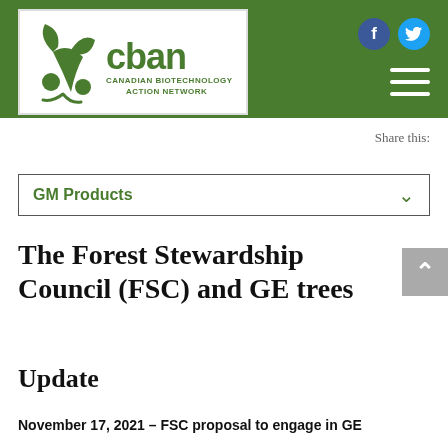[Figure (logo): CBAN - Canadian Biotechnology Action Network logo with green plant/leaf graphic]
Share this:
GM Products
The Forest Stewardship Council (FSC) and GE trees
Update
November 17, 2021 – FSC proposal to engage in GE